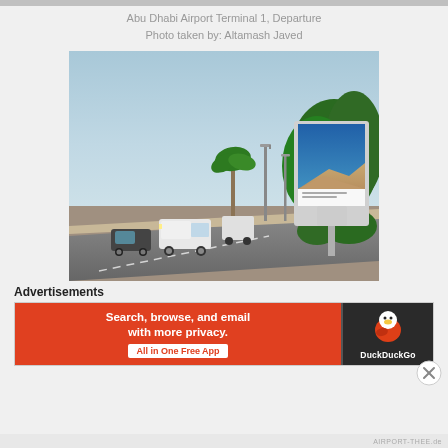Abu Dhabi Airport Terminal 1, Departure
Photo taken by: Altamash Javed
[Figure (photo): Outdoor road scene near Abu Dhabi Airport Terminal 1 departure area. Shows a wide road with vehicles (a white van and a dark car), street lamps, palm trees, green trees, and a large billboard/lightbox displaying a desert dunes photograph against a blue sky.]
Advertisements
[Figure (infographic): DuckDuckGo advertisement banner. Left side has orange/red background with white bold text: 'Search, browse, and email with more privacy.' and a white pill button 'All in One Free App'. Right side has dark background with DuckDuckGo duck logo and 'DuckDuckGo' text in white.]